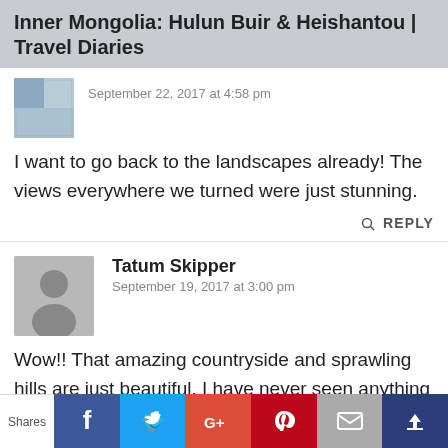Inner Mongolia: Hulun Buir & Heishantou | Travel Diaries
September 22, 2017 at 4:58 pm
I want to go back to the landscapes already! The views everywhere we turned were just stunning.
REPLY
Tatum Skipper
September 19, 2017 at 3:00 pm
Wow!! That amazing countryside and sprawling hills are just beautiful. I have never seen anything like the white
Shares | Facebook | Twitter | Google+ | Pinterest | Email | Crown